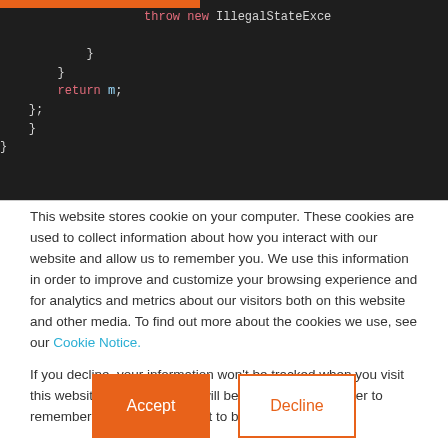[Figure (screenshot): Dark-themed code editor screenshot showing Java/Kotlin code with closing braces, a return statement, and a throw new IllegalStateException call. Keywords 'throw', 'new', 'return' are highlighted in pink/red, identifiers in white and cyan on a dark (#1e1e1e) background.]
This website stores cookie on your computer. These cookies are used to collect information about how you interact with our website and allow us to remember you. We use this information in order to improve and customize your browsing experience and for analytics and metrics about our visitors both on this website and other media. To find out more about the cookies we use, see our Cookie Notice.
If you decline, your information won’t be tracked when you visit this website. A single cookie will be used in your browser to remember your preference not to be tracked.
Accept
Decline